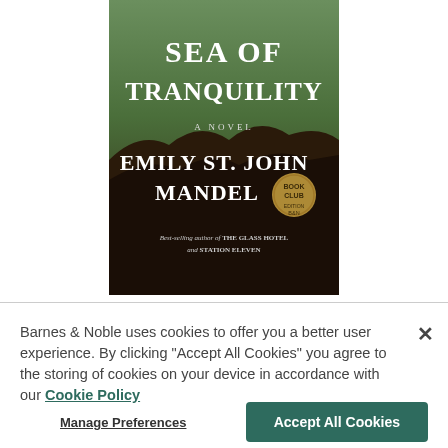[Figure (illustration): Book cover of 'Sea of Tranquility' by Emily St. John Mandel. Dark earthy/nature landscape background. Title in large white serif font at top. 'A NOVEL' in small white caps. Author name 'EMILY ST. JOHN MANDEL' in large white serif font. A circular 'Book Club' badge. Tagline: 'Best-selling author of THE GLASS HOTEL and STATION ELEVEN']
Barnes & Noble uses cookies to offer you a better user experience. By clicking "Accept All Cookies" you agree to the storing of cookies on your device in accordance with our Cookie Policy
Manage Preferences
Accept All Cookies